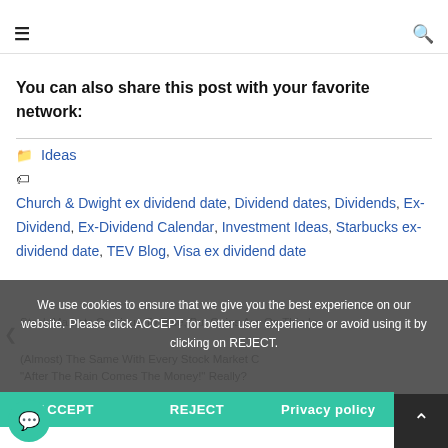also follow and write a comment
You can also share this post with your favorite network:
Ideas
Church & Dwight ex dividend date, Dividend dates, Dividends, Ex-Dividend, Ex-Dividend Calendar, Investment Ideas, Starbucks ex-dividend date, TEV Blog, Visa ex dividend date
Stock Markets Continue To Rise, But Gains Are On Thin Ice
(Almost) The Same With Every Stock Market Crash: "After The Rain Comes The Money!" Really?
We use cookies to ensure that we give you the best experience on our website. Please click ACCEPT for better user experience or avoid using it by clicking on REJECT.